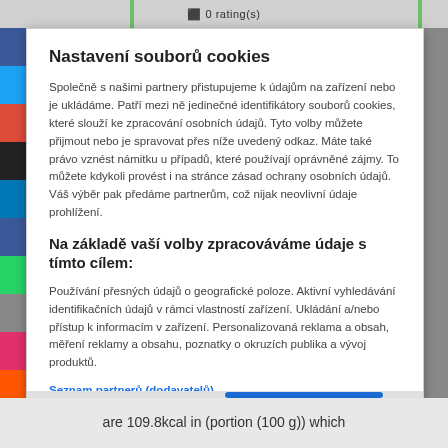⬛ 0 rating(s)
Nastavení souborů cookies
Společně s našimi partnery přistupujeme k údajům na zařízení nebo je ukládáme. Patří mezi ně jedinečné identifikátory souborů cookies, které slouží ke zpracování osobních údajů. Tyto volby můžete přijmout nebo je spravovat přes níže uvedený odkaz. Máte také právo vznést námitku u případů, které používají oprávněné zájmy. To můžete kdykoli provést i na stránce zásad ochrany osobních údajů. Váš výběr pak předáme partnerům, což nijak neovlivní údaje prohlížení.
Na základě vaší volby zpracováváme údaje s tímto cílem:
Používání přesných údajů o geografické poloze. Aktivní vyhledávání identifikačních údajů v rámci vlastností zařízení. Ukládání a/nebo přístup k informacím v zařízení. Personalizovaná reklama a obsah, měření reklamy a obsahu, poznatky o okruzích publika a vývoj produktů.
Seznam partnerů (dodavatelů)
are 109.8kcal in (portion (100 g)) which